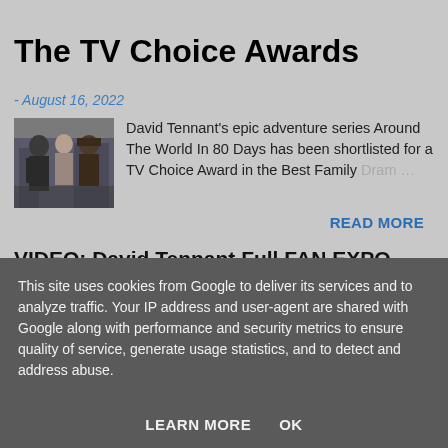The TV Choice Awards
- August 16, 2022
[Figure (photo): Three actors from Around The World In 80 Days TV series]
David Tennant's epic adventure series Around The World In 80 Days has been shortlisted for a TV Choice Award in the Best Family Dram …
READ MORE
VIDEO: David Tennant Full FAN EXPO Boston Panel
This site uses cookies from Google to deliver its services and to analyze traffic. Your IP address and user-agent are shared with Google along with performance and security metrics to ensure quality of service, generate usage statistics, and to detect and address abuse.
LEARN MORE   OK